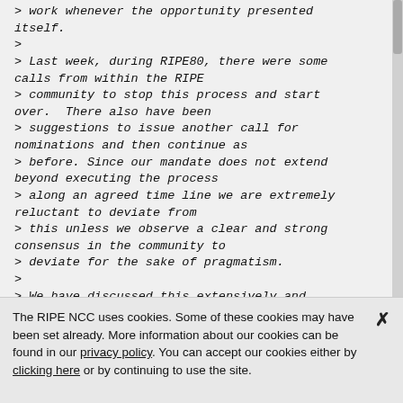> work whenever the opportunity presented itself.
>
> Last week, during RIPE80, there were some calls from within the RIPE
> community to stop this process and start over.  There also have been
> suggestions to issue another call for nominations and then continue as
> before. Since our mandate does not extend beyond executing the process
> along an agreed time line we are extremely reluctant to deviate from
> this unless we observe a clear and strong consensus in the community to
> deviate for the sake of pragmatism.
>
> We have discussed this extensively and decided against changing the
> planned time line because we see no such
The RIPE NCC uses cookies. Some of these cookies may have been set already. More information about our cookies can be found in our privacy policy. You can accept our cookies either by clicking here or by continuing to use the site.